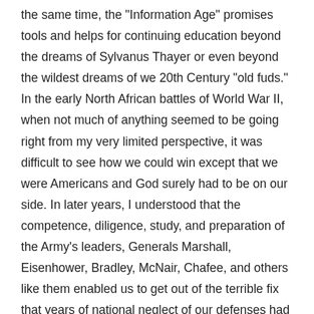the same time, the "Information Age" promises tools and helps for continuing education beyond the dreams of Sylvanus Thayer or even beyond the wildest dreams of we 20th Century "old fuds." In the early North African battles of World War II, when not much of anything seemed to be going right from my very limited perspective, it was difficult to see how we could win except that we were Americans and God surely had to be on our side. In later years, I understood that the competence, diligence, study, and preparation of the Army's leaders, Generals Marshall, Eisenhower, Bradley, McNair, Chafee, and others like them enabled us to get out of the terrible fix that years of national neglect of our defenses had put us in. Another fellow, very familiar with this site on the banks of the Hudson, Coach Bobby Knight, put it very well when he was being interviewed about the Olympic basketball team. He was asked if he thought the team would have "the will to win." He replied that everyone had the "will to win." The question